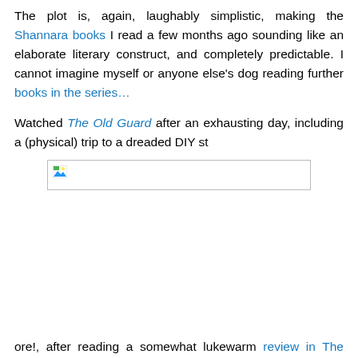The plot is, again, laughably simplistic, making the Shannara books I read a few months ago sounding like an elaborate literary construct, and completely predictable. I cannot imagine myself or anyone else's dog reading further books in the series…
Watched The Old Guard after an exhausting day, including a (physical) trip to a dreaded DIY st
[Figure (other): Broken/placeholder image thumbnail, a small image icon in the top-left corner of a bordered rectangle]
ore!, after reading a somewhat lukewarm review in The New Yorker… I found out later that the film is based on a